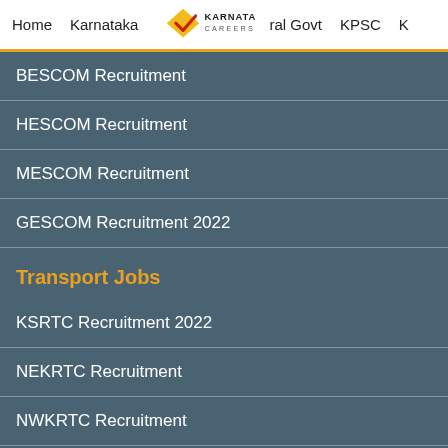Home  Karnataka  Karnataka Careers  ral Govt  KPSC  K
BESCOM Recruitment
HESCOM Recruitment
MESCOM Recruitment
GESCOM Recruitment 2022
Transport Jobs
KSRTC Recruitment 2022
NEKRTC Recruitment
NWKRTC Recruitment
BMTC Recruitment
BMRCL Recruitment 2022
Important Links